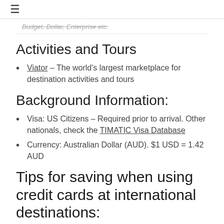≡
Budget, Dollar, Enterprise etc.
Activities and Tours
Viator – The world's largest marketplace for destination activities and tours
Background Information:
Visa: US Citizens – Required prior to arrival. Other nationals, check the TIMATIC Visa Database
Currency: Australian Dollar (AUD). $1 USD = 1.42 AUD
Tips for saving when using credit cards at international destinations: